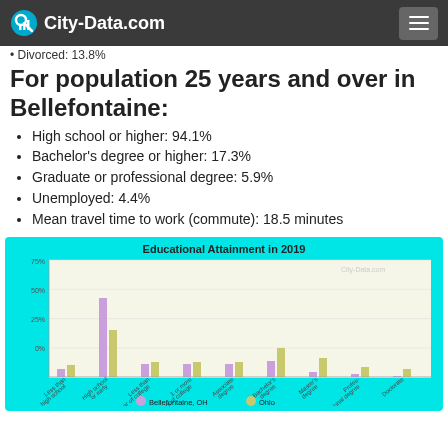City-Data.com
Divorced: 13.8%
For population 25 years and over in Bellefontaine:
High school or higher: 94.1%
Bachelor's degree or higher: 17.3%
Graduate or professional degree: 5.9%
Unemployed: 4.4%
Mean travel time to work (commute): 18.5 minutes
[Figure (grouped-bar-chart): Educational Attainment in 2019]